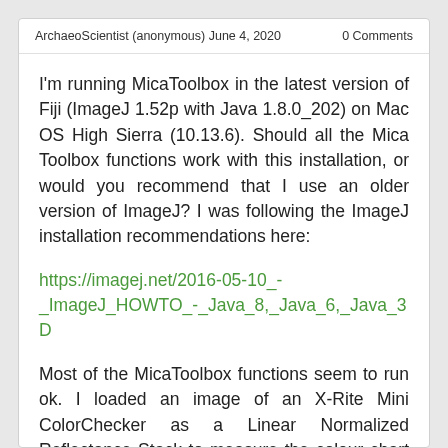ArchaeoScientist (anonymous) June 4, 2020    0 Comments
I'm running MicaToolbox in the latest version of Fiji (ImageJ 1.52p with Java 1.8.0_202) on Mac OS High Sierra (10.13.6). Should all the Mica Toolbox functions work with this installation, or would you recommend that I use an older version of ImageJ? I was following the ImageJ installation recommendations here:
https://imagej.net/2016-05-10_-_ImageJ_HOWTO_-_Java_8,_Java_6,_Java_3D
Most of the MicaToolbox functions seem to run ok. I loaded an image of an X-Rite Mini ColorChecker as a Linear Normalized Reflectance Stack to measure the colour chart and obtained good R^2 correlation values (>0.99). When I use